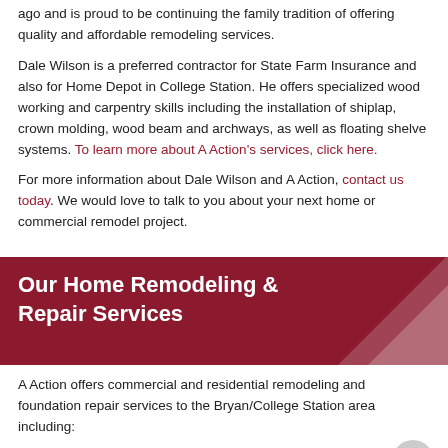ago and is proud to be continuing the family tradition of offering quality and affordable remodeling services.
Dale Wilson is a preferred contractor for State Farm Insurance and also for Home Depot in College Station. He offers specialized wood working and carpentry skills including the installation of shiplap, crown molding, wood beam and archways, as well as floating shelve systems. To learn more about A Action's services, click here.
For more information about Dale Wilson and A Action, contact us today. We would love to talk to you about your next home or commercial remodel project.
Our Home Remodeling & Repair Services
A Action offers commercial and residential remodeling and foundation repair services to the Bryan/College Station area including:
Carpentry
Granite Counter Tops